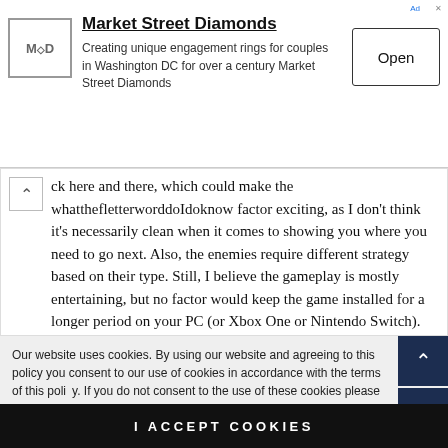[Figure (other): Advertisement banner for Market Street Diamonds with logo, text, and Open button]
ck here and there, which could make the whatthefletterworddoIdoknow factor exciting, as I don’t think it’s necessarily clean when it comes to showing you where you need to go next. Also, the enemies require different strategy based on their type. Still, I believe the gameplay is mostly entertaining, but no factor would keep the game installed for a longer period on your PC (or Xbox One or Nintendo Switch).
Our website uses cookies. By using our website and agreeing to this policy you consent to our use of cookies in accordance with the terms of this policy. If you do not consent to the use of these cookies please disable them following the instructions in this Cookie Notice so that cookies from this website cannot be placed on your device.
I ACCEPT COOKIES